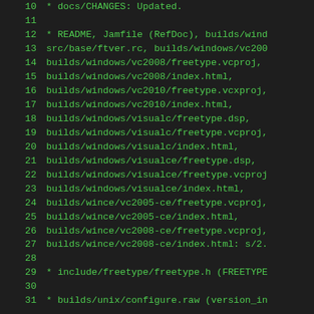10    * docs/CHANGES: Updated.
11
12        * README, Jamfile (RefDoc), builds/wind...
13        src/base/ftver.rc, builds/windows/vc200...
14        builds/windows/vc2008/freetype.vcproj,
15        builds/windows/vc2008/index.html,
16        builds/windows/vc2010/freetype.vcxproj,
17        builds/windows/vc2010/index.html,
18        builds/windows/visualc/freetype.dsp,
19        builds/windows/visualc/freetype.vcproj,
20        builds/windows/visualc/index.html,
21        builds/windows/visualce/freetype.dsp,
22        builds/windows/visualce/freetype.vcproj...
23        builds/windows/visualce/index.html,
24        builds/wince/vc2005-ce/freetype.vcproj,
25        builds/wince/vc2005-ce/index.html,
26        builds/wince/vc2008-ce/freetype.vcproj,
27        builds/wince/vc2008-ce/index.html: s/2...
28
29        * include/freetype/freetype.h (FREETYPE...
30
31        * builds/unix/configure.raw (version_in...